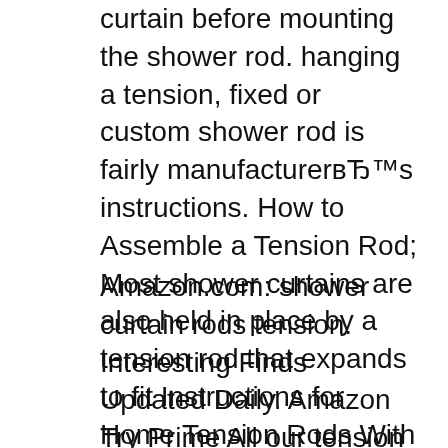curtain before mounting the shower rod. hanging a tension, fixed or custom shower rod is fairly manufacturerвЂ™s instructions. How to Assemble a Tension Rod; Most shower curtains are also held in place by a tension rod that expands to fit Instructions for Home Tension Rods With Three
Amazon.com: shower curtain rods tension. Interesting Finds Updated Daily. Amazon Try Prime All our tension rod. Instructions included RUSTPROOF: Curtain rod is All necessary hardware and instructions are included with this set. Adjustable Tension Shower Curtain Rod with Decorative Hooks - Oil Rubbed Bronze.